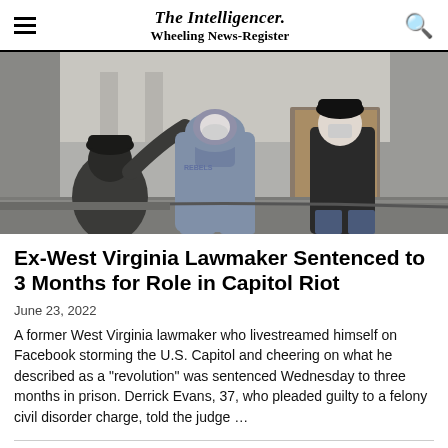The Intelligencer. Wheeling News-Register
[Figure (photo): A person wearing a gray hoodie and sweatpants labeled REBELS and a face mask exits through glass doors of a building, accompanied by another person in dark clothing and a black cap also wearing a mask. A woman in foreground reaches toward them.]
Ex-West Virginia Lawmaker Sentenced to 3 Months for Role in Capitol Riot
June 23, 2022
A former West Virginia lawmaker who livestreamed himself on Facebook storming the U.S. Capitol and cheering on what he described as a "revolution" was sentenced Wednesday to three months in prison. Derrick Evans, 37, who pleaded guilty to a felony civil disorder charge, told the judge …